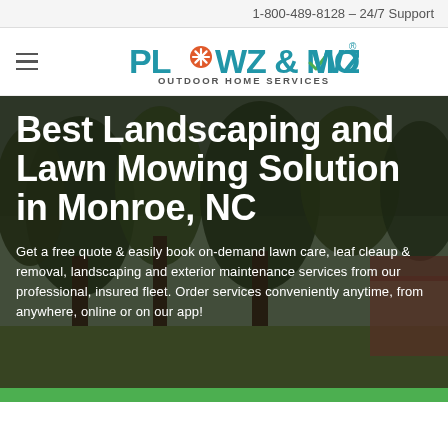1-800-489-8128 – 24/7 Support
[Figure (logo): Plowz & Mowz Outdoor Home Services logo with snowflake and mow symbols]
Best Landscaping and Lawn Mowing Solution in Monroe, NC
Get a free quote & easily book on-demand lawn care, leaf cleaup & removal, landscaping and exterior maintenance services from our professional, insured fleet. Order services conveniently anytime, from anywhere, online or on our app!